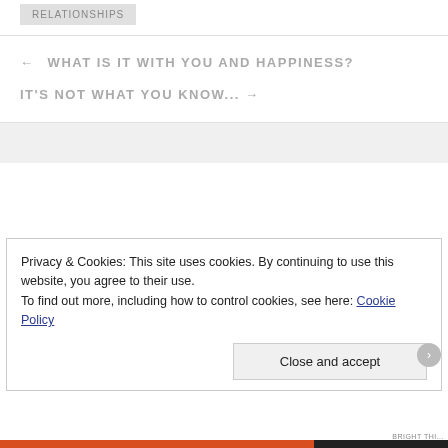RELATIONSHIPS
← WHAT IS IT WITH YOU AND HAPPINESS?
IT'S NOT WHAT YOU KNOW... →
Privacy & Cookies: This site uses cookies. By continuing to use this website, you agree to their use.
To find out more, including how to control cookies, see here: Cookie Policy
Close and accept